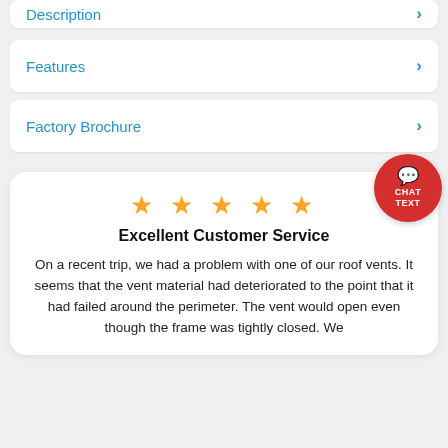Description
Features
Factory Brochure
Excellent Customer Service
On a recent trip, we had a problem with one of our roof vents. It seems that the vent material had deteriorated to the point that it had failed around the perimeter. The vent would open even though the frame was tightly closed. We